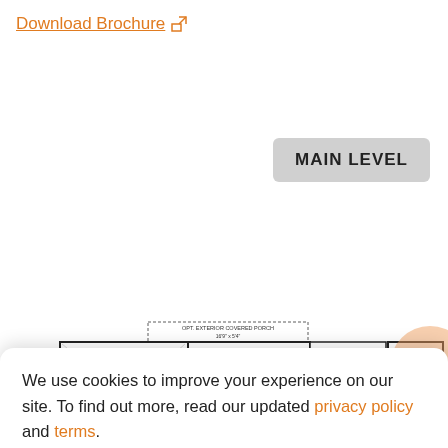Download Brochure ↗
MAIN LEVEL
[Figure (engineering-diagram): Floor plan showing OWNERS SUITE 14'10" x 17'0", COVERED PORCH 15'10" x 12'8", DINING 12'8" x 13'9", BEDROOM #4 13'2" x 11'0", with OPT. EXTERIOR COVERED PORCH 16'9" x 5'4" and OPT. SLIDING DOOR noted]
We use cookies to improve your experience on our site. To find out more, read our updated privacy policy and terms.
I understand